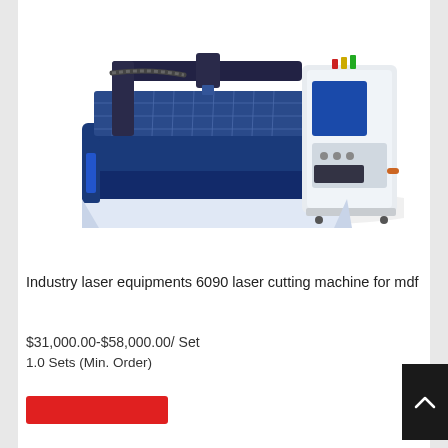[Figure (photo): Industrial laser cutting machine (model 6090) with a large flat cutting bed in blue and white, a gantry head with laser nozzle, and a separate white control cabinet with blue panel and indicator lights, shown on white background.]
Industry laser equipments 6090 laser cutting machine for mdf
$31,000.00-$58,000.00/ Set
1.0 Sets (Min. Order)